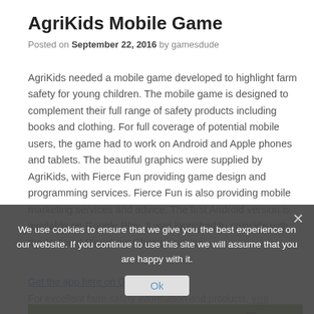AgriKids Mobile Game
Posted on September 22, 2016 by gamesdude
AgriKids needed a mobile game developed to highlight farm safety for young children. The mobile game is designed to complement their full range of safety products including books and clothing. For full coverage of potential mobile users, the game had to work on Android and Apple phones and tablets. The beautiful graphics were supplied by AgriKids, with Fierce Fun providing game design and programming services. Fierce Fun is also providing mobile marketing services and advice. The first Android version is available on Google Play. It was launched to coincide with the National Ploughing Championships.
Get the app here on Google Play
For excellent farm safety information and products, visit AgriKids
We use cookies to ensure that we give you the best experience on our website. If you continue to use this site we will assume that you are happy with it.
[Figure (screenshot): Mobile game screenshot showing a farm-themed game with green landscape, flower characters, hearts, health bar, and game controls.]